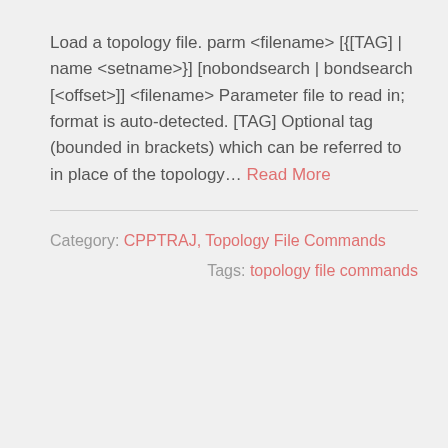Load a topology file. parm <filename> [{[TAG] | name <setname>} [nobondsearch | bondsearch [<offset>]] <filename> Parameter file to read in; format is auto-detected. [TAG] Optional tag (bounded in brackets) which can be referred to in place of the topology… Read More
Category: CPPTRAJ, Topology File Commands
Tags: topology file commands